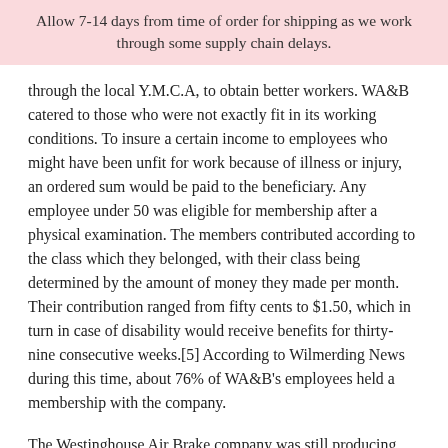Allow 7-14 days from time of order for shipping as we work through some supply chain delays.
through the local Y.M.C.A, to obtain better workers. WA&B catered to those who were not exactly fit in its working conditions. To insure a certain income to employees who might have been unfit for work because of illness or injury, an ordered sum would be paid to the beneficiary. Any employee under 50 was eligible for membership after a physical examination. The members contributed according to the class which they belonged, with their class being determined by the amount of money they made per month. Their contribution ranged from fifty cents to $1.50, which in turn in case of disability would receive benefits for thirty-nine consecutive weeks.[5] According to Wilmerding News during this time, about 76% of WA&B's employees held a membership with the company.
The Westinghouse Air Brake company was still producing products up until around the year 2000, under several different managers over the years. The company had become